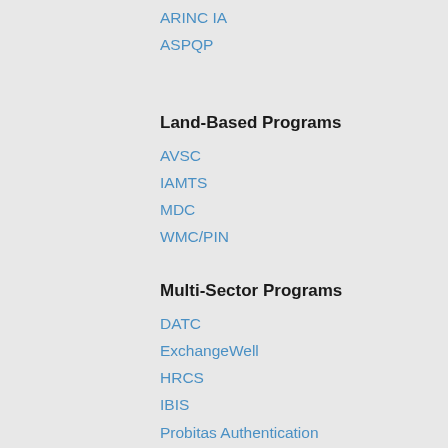ARINC IA
ASPQP
Land-Based Programs
AVSC
IAMTS
MDC
WMC/PIN
Multi-Sector Programs
DATC
ExchangeWell
HRCS
IBIS
Probitas Authentication
SAE AMS-AMDC
Events
Come Visit Us
SAE ITC Events
Third Party Events
About SAE ITC
Board of Directors